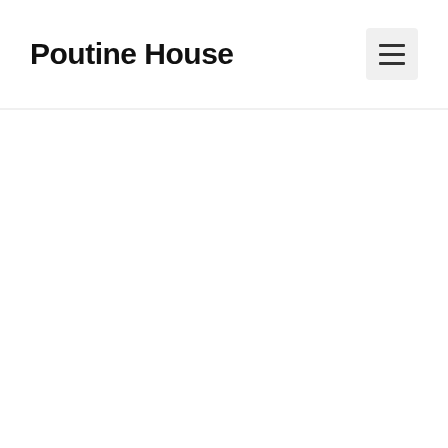Poutine House
[Figure (other): Hamburger menu icon button with three horizontal lines on a light gray rounded square background]